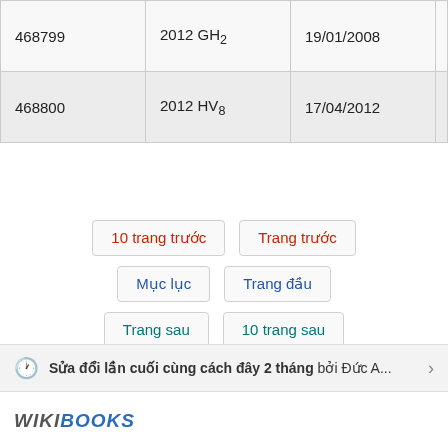|  |  |  |  |
| --- | --- | --- | --- |
| 468799 | 2012 GH₂ | 19/01/2008 | Mount Lemm |
| 468800 | 2012 HV₈ | 17/04/2012 | Kitt Peak |
10 trang trước
Trang trước
Mục lục
Trang đầu
Trang sau
10 trang sau
Sửa đổi lần cuối cùng cách đây 2 tháng bởi Đức A...